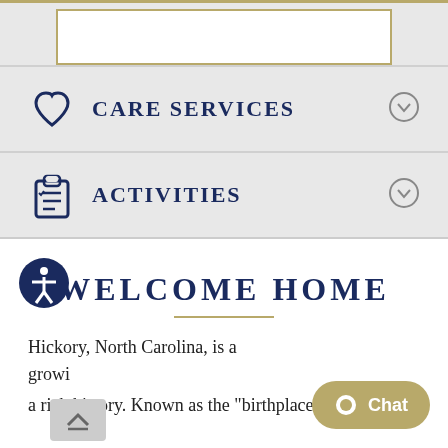[Figure (screenshot): White box with gold border (top of a UI card)]
Care Services
Activities
WELCOME HOME
Hickory, North Carolina, is a growi a rich history. Known as the "birthplace of